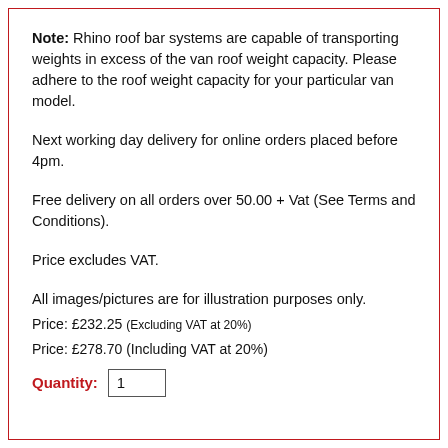Note: Rhino roof bar systems are capable of transporting weights in excess of the van roof weight capacity. Please adhere to the roof weight capacity for your particular van model.
Next working day delivery for online orders placed before 4pm.
Free delivery on all orders over 50.00 + Vat (See Terms and Conditions).
Price excludes VAT.
All images/pictures are for illustration purposes only.
Price: £232.25 (Excluding VAT at 20%)
Price: £278.70 (Including VAT at 20%)
Quantity: 1